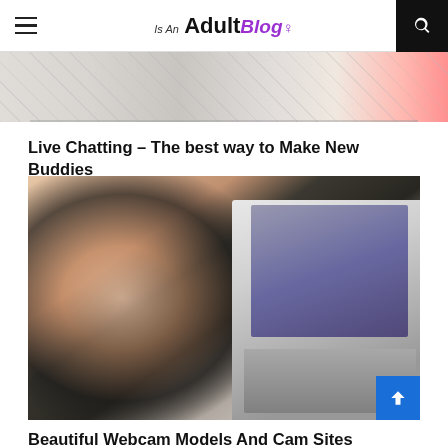Is An Adult Blog
[Figure (photo): Partial cropped image strip at top showing desk/notebook scene]
Live Chatting – The best way to Make New Buddies
[Figure (photo): Woman in black lingerie lying next to a laptop computer, blurred/soft focus]
Beautiful Webcam Models And Cam Sites